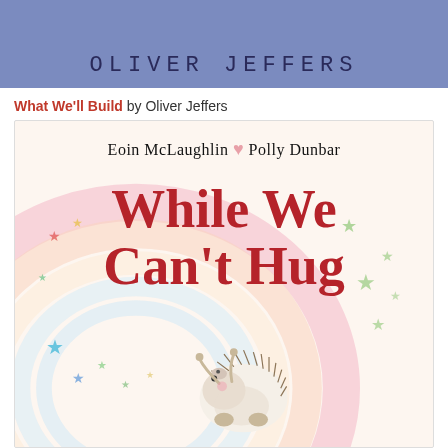[Figure (illustration): Top banner with purple/blue background showing 'OLIVER JEFFERS' in handwritten-style monospace lettering]
What We'll Build by Oliver Jeffers
[Figure (illustration): Book cover of 'While We Can't Hug' by Eoin McLaughlin and Polly Dunbar. Features a watercolor rainbow with colorful stars and a hedgehog looking up with arms raised. Title in large red text.]